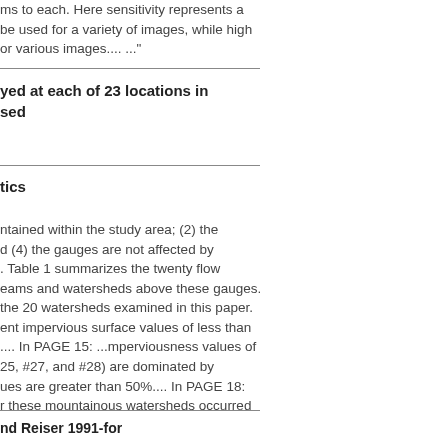ms to each. Here sensitivity represents a be used for a variety of images, while high or various images.... ..."
yed at each of 23 locations in sed
tics
ntained within the study area; (2) the d (4) the gauges are not affected by . Table 1 summarizes the twenty flow eams and watersheds above these gauges. the 20 watersheds examined in this paper. ent impervious surface values of less than .... In PAGE 15: ...mperviousness values of 25, #27, and #28) are dominated by ues are greater than 50%.... In PAGE 18: r these mountainous watersheds occurred
nd Reiser 1991-for